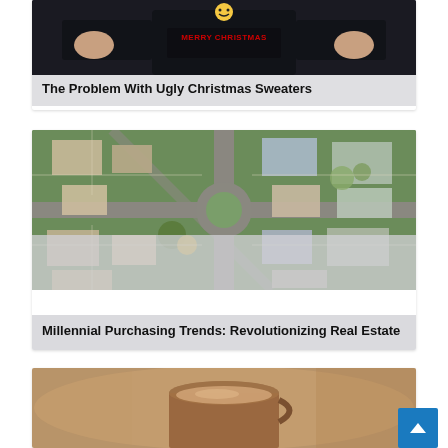[Figure (photo): Article card showing a person in a Merry Christmas sweater with a smiley face]
The Problem With Ugly Christmas Sweaters
[Figure (photo): Aerial drone view of a suburban neighborhood with houses, roads, and trees]
Millennial Purchasing Trends: Revolutionizing Real Estate
[Figure (photo): Close-up of a food or coffee item, partially visible at bottom of page]